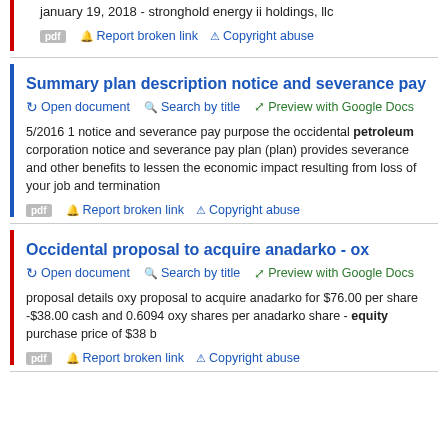january 19, 2018 - stronghold energy ii holdings, llc
pdf  Report broken link  Copyright abuse
Summary plan description notice and severance pay
Open document  Search by title  Preview with Google Docs
5/2016 1 notice and severance pay purpose the occidental petroleum corporation notice and severance pay plan (plan) provides severance and other benefits to lessen the economic impact resulting from loss of your job and termination
pdf  Report broken link  Copyright abuse
Occidental proposal to acquire anadarko - ox
Open document  Search by title  Preview with Google Docs
proposal details oxy proposal to acquire anadarko for $76.00 per share -$38.00 cash and 0.6094 oxy shares per anadarko share - equity purchase price of $38 b
pdf  Report broken link  Copyright abuse